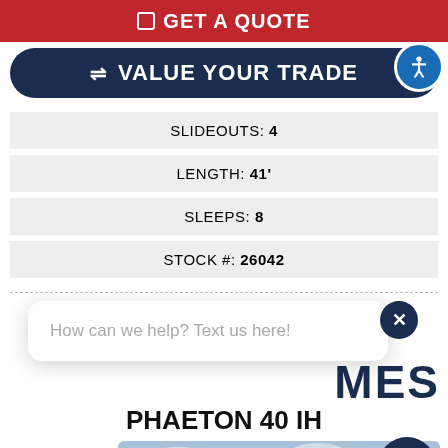GET A QUOTE
VALUE YOUR TRADE
| SLIDEOUTS: 4 |
| LENGTH: 41' |
| SLEEPS: 8 |
| STOCK #: 26042 |
How can we help? Text us here!
MES
PHAETON 40 IH
[Figure (photo): Front view of a large dark blue motorcoach RV (Phaeton 40 IH) against a cloudy sky]
Text us!